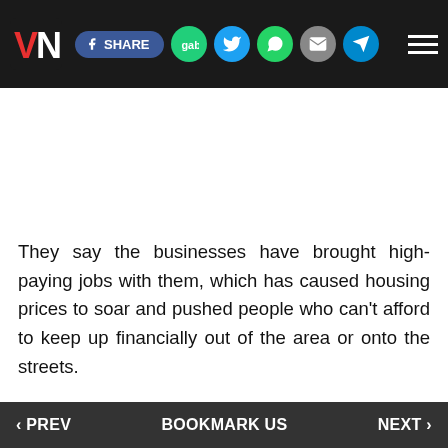VN | SHARE | gab | twitter | whatsapp | mail | telegram
They say the businesses have brought high-paying jobs with them, which has caused housing prices to soar and pushed people who can't afford to keep up financially out of the area or onto the streets.
Jose, a Bay Area Rapid Transit worker who has been living in San Francisco for more than 20 years, told Fox News he fears he too could be homeless one day.
‹ PREV   BOOKMARK US   NEXT ›